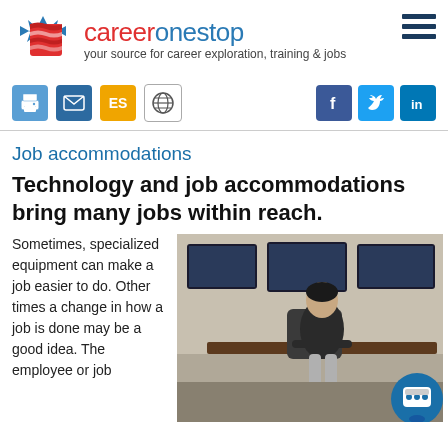[Figure (logo): CareerOneStop logo with star/flag icon, site name in red and blue, tagline 'your source for career exploration, training & jobs']
[Figure (infographic): Toolbar with print, email, ES, globe icons on left and Facebook, Twitter, LinkedIn icons on right]
Job accommodations
Technology and job accommodations bring many jobs within reach.
Sometimes, specialized equipment can make a job easier to do. Other times a change in how a job is done may be a good idea. The employee or job
[Figure (photo): A person sitting at a desk with multiple monitors in the background, with a guide dog under the desk]